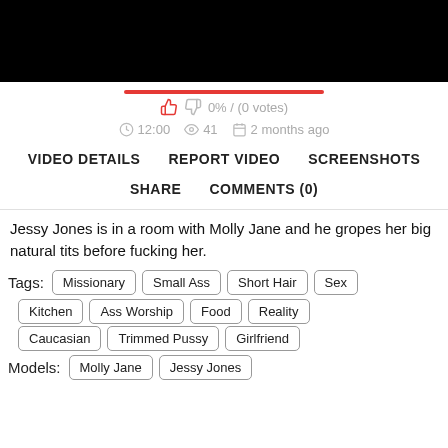[Figure (screenshot): Black video thumbnail/player area at top of page]
0% / (0 votes)
12:00   41   2 months ago
VIDEO DETAILS   REPORT VIDEO   SCREENSHOTS   SHARE   COMMENTS (0)
Jessy Jones is in a room with Molly Jane and he gropes her big natural tits before fucking her.
Tags: Missionary  Small Ass  Short Hair  Sex  Kitchen  Ass Worship  Food  Reality  Caucasian  Trimmed Pussy  Girlfriend
Models: Molly Jane  Jessy Jones